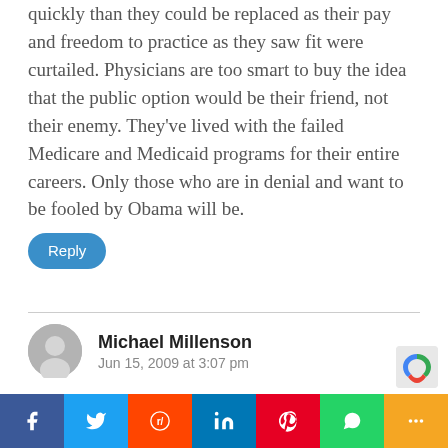quickly than they could be replaced as their pay and freedom to practice as they saw fit were curtailed. Physicians are too smart to buy the idea that the public option would be their friend, not their enemy. They've lived with the failed Medicare and Medicaid programs for their entire careers. Only those who are in denial and want to be fooled by Obama will be.
Reply
Michael Millenson
Jun 15, 2009 at 3:07 pm
Jason, I thought the content of the speech was excellent. Having said that, Obama's approach to